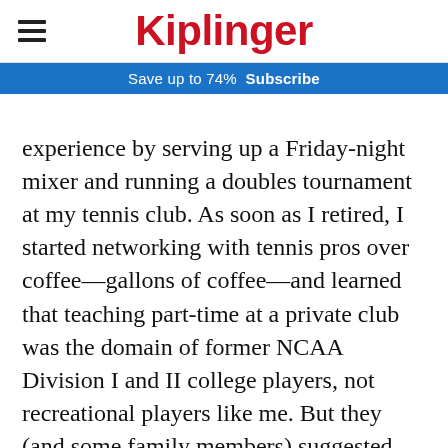Kiplinger
Save up to 74%  Subscribe
experience by serving up a Friday-night mixer and running a doubles tournament at my tennis club. As soon as I retired, I started networking with tennis pros over coffee—gallons of coffee—and learned that teaching part-time at a private club was the domain of former NCAA Division I and II college players, not recreational players like me. But they (and some family members) suggested volunteering to coach high school tennis.

Volunteering was an option because I didn't have to earn a lot of money teaching tennis, thanks to my